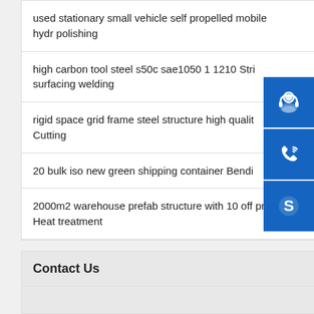used stationary small vehicle self propelled mobile hydr polishing
high carbon tool steel s50c sae1050 1 1210 Stri surfacing welding
rigid space grid frame steel structure high qualit Cutting
20 bulk iso new green shipping container Bendi
2000m2 warehouse prefab structure with 10 off price Heat treatment
Contact Us